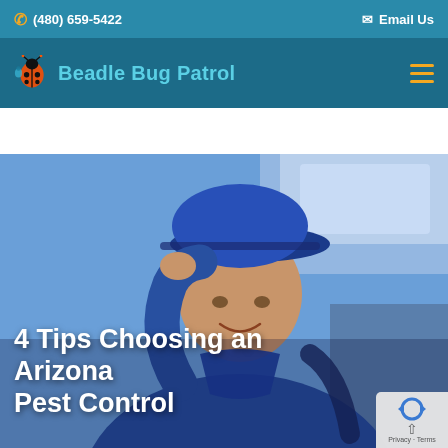(480) 659-5422  Email Us
Beadle Bug Patrol
[Figure (photo): Pest control technician in blue uniform and blue baseball cap, smiling and tipping cap brim, standing in front of a vehicle]
4 Tips Choosing an Arizona Pest Control